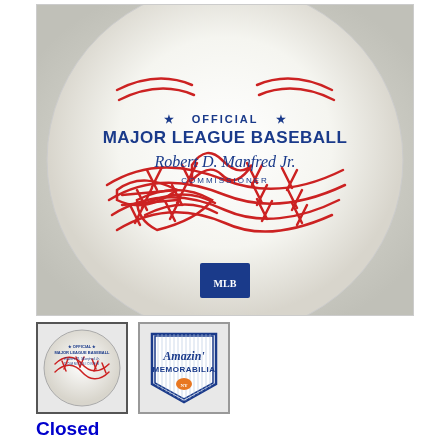[Figure (photo): Close-up photo of an Official Major League Baseball with 'Robert D. Manfred Jr. Commissioner' printed on it, showing red stitching and the MLB logo at the bottom.]
[Figure (photo): Small thumbnail of the same baseball showing the back with red stitching.]
[Figure (logo): Amazin' Memorabilia logo — a shield/pennant shape with blue pinstripes, text 'Amazin' Memorabilia' and an orange Mets-style baseball diamond logo.]
Closed